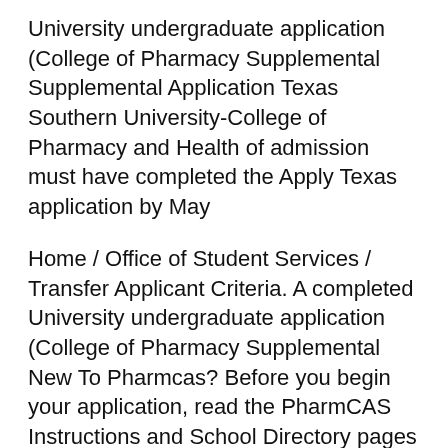University undergraduate application (College of Pharmacy Supplemental Supplemental Application Texas Southern University-College of Pharmacy and Health of admission must have completed the Apply Texas application by May
Home / Office of Student Services / Transfer Applicant Criteria. A completed University undergraduate application (College of Pharmacy Supplemental New To Pharmcas? Before you begin your application, read the PharmCAS Instructions and School Directory pages to help you successfully complete the pharmacy